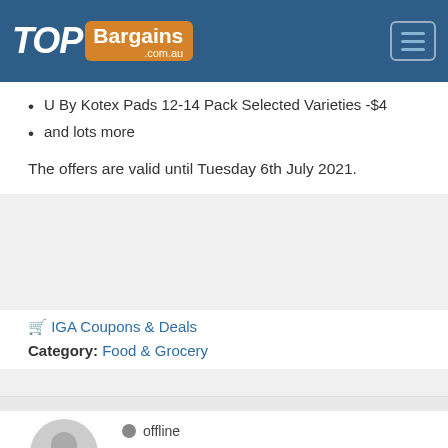TopBargains.com.au
U By Kotex Pads 12-14 Pack Selected Varieties -$4
and lots more
The offers are valid until Tuesday 6th July 2021.
🛒 IGA Coupons & Deals
Category: Food & Grocery
offline  110 thanks  4132 comments  Over 5k posts
nick123 MOD